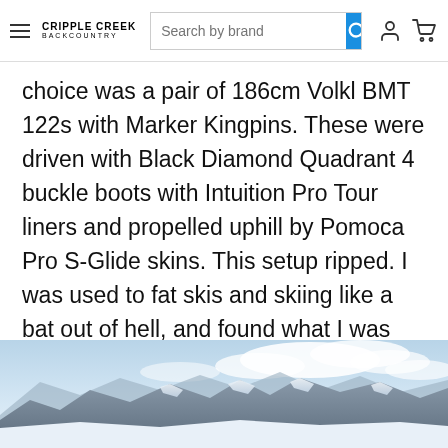Cripple Creek Backcountry — Search by brand [search bar] [user icon] [cart icon]
choice was a pair of 186cm Volkl BMT 122s with Marker Kingpins. These were driven with Black Diamond Quadrant 4 buckle boots with Intuition Pro Tour liners and propelled uphill by Pomoca Pro S-Glide skins. This setup ripped. I was used to fat skis and skiing like a bat out of hell, and found what I was looking for at the time. I also had a pair of 177cm Fischer Hannibal 94s with a Speed Radical that I wasn't crazy about, but used for mountaineering missions.
[Figure (photo): Snow-covered mountain range panorama with clouds above, bright alpine landscape]